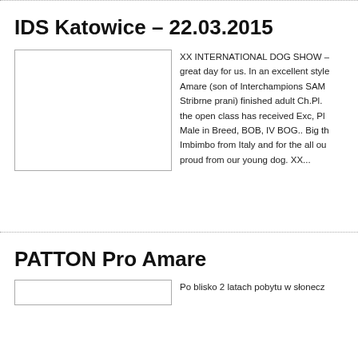IDS Katowice – 22.03.2015
[Figure (photo): Photo placeholder for IDS Katowice article]
XX INTERNATIONAL DOG SHOW – great day for us. In an excellent style Amare (son of Interchampions SAMI Stribrne prani) finished adult Ch.Pl. the open class has received Exc, Pl Male in Breed, BOB, IV BOG.. Big th Imbimbo from Italy and for the all ou proud from our young dog. XX...
PATTON Pro Amare
[Figure (photo): Photo placeholder for PATTON Pro Amare article]
Po blisko 2 latach pobytu w słonecz